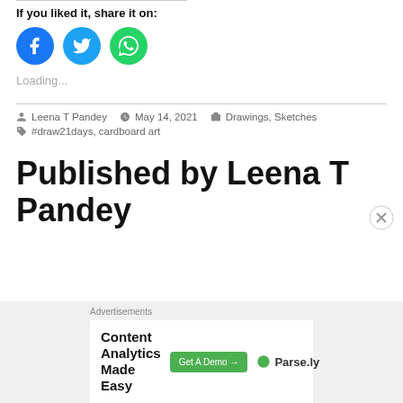If you liked it, share it on:
[Figure (illustration): Three social media share buttons: Facebook (blue circle), Twitter (blue circle), WhatsApp (green circle)]
Loading...
Leena T Pandey   May 14, 2021   Drawings, Sketches   #draw21days, cardboard art
Published by Leena T Pandey
Advertisements
[Figure (screenshot): Advertisement banner: Content Analytics Made Easy — Get A Demo → Parse.ly]